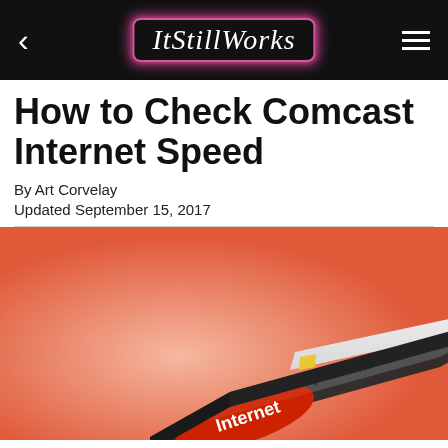ItStillWorks
How to Check Comcast Internet Speed
By Art Corvelay
Updated September 15, 2017
[Figure (illustration): Illustration of a computer keyboard key with a red Internet button and an address bar showing http://www. on a salmon/orange-red background]